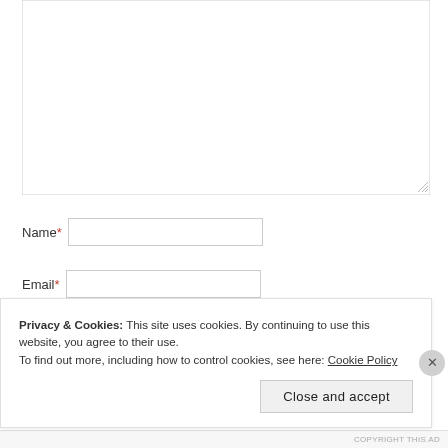[Figure (screenshot): A textarea (comment/message input box) with a resize handle in the bottom-right corner, shown as a white bordered rectangle.]
Name*
[Figure (screenshot): A text input field for Name]
Email*
[Figure (screenshot): A text input field for Email]
[Figure (screenshot): A partially visible submit button area]
Privacy & Cookies: This site uses cookies. By continuing to use this website, you agree to their use.
To find out more, including how to control cookies, see here: Cookie Policy
Close and accept
COPYRIGHT THIS AD